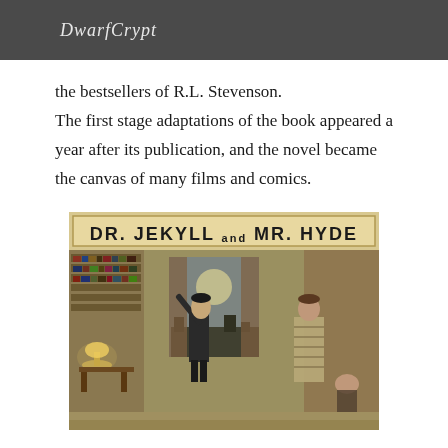DwarfCrypt
the bestsellers of R.L. Stevenson. The first stage adaptations of the book appeared a year after its publication, and the novel became the canvas of many films and comics.
[Figure (illustration): Vintage theatrical poster for 'Dr. Jekyll and Mr. Hyde' showing two men in a Victorian interior, one gesturing dramatically toward a window with a moonlit city view, the other standing in a striped robe, with a third hunched figure in the background.]